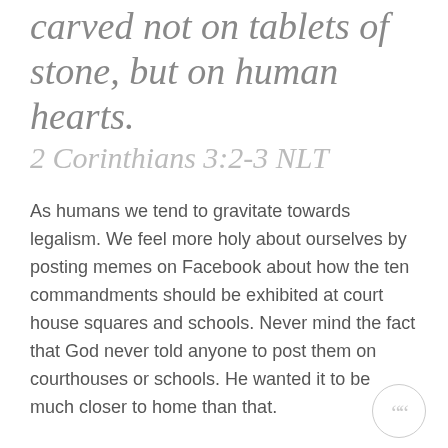carved not on tablets of stone, but on human hearts.
2 Corinthians 3:2-3 NLT
As humans we tend to gravitate towards legalism. We feel more holy about ourselves by posting memes on Facebook about how the ten commandments should be exhibited at court house squares and schools. Never mind the fact that God never told anyone to post them on courthouses or schools. He wanted it to be much closer to home than that.
And you must commit